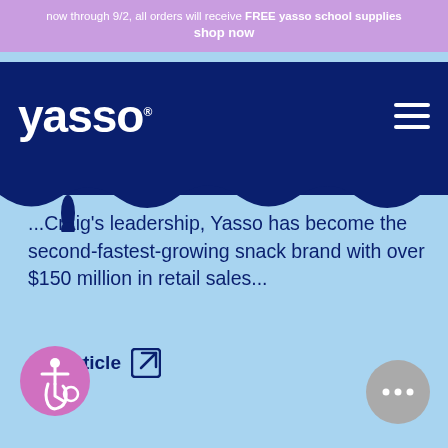now through 9/2, all orders will receive FREE yasso school supplies
shop now
[Figure (logo): Yasso logo in white text on dark blue background with hamburger menu icon]
...Craig's leadership, Yasso has become the second-fastest-growing snack brand with over $150 million in retail sales...
see article [external link icon]
[Figure (illustration): Pink circle accessibility icon with wheelchair figure]
[Figure (illustration): Grey circle chat/message button with ellipsis]